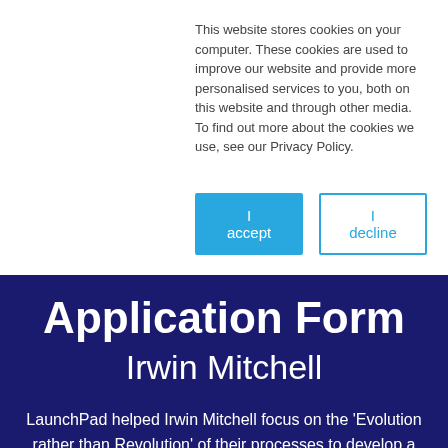This website stores cookies on your computer. These cookies are used to improve our website and provide more personalised services to you, both on this website and through other media. To find out more about the cookies we use, see our Privacy Policy.
[Figure (other): Two buttons: 'I accept' (blue filled) and 'I decline' (white with blue border)]
Application Form
Irwin Mitchell
LaunchPad helped Irwin Mitchell focus on the 'Evolution rather than Revolution' of their processes to develop a well executed and engaging process to deliver the results they needed.